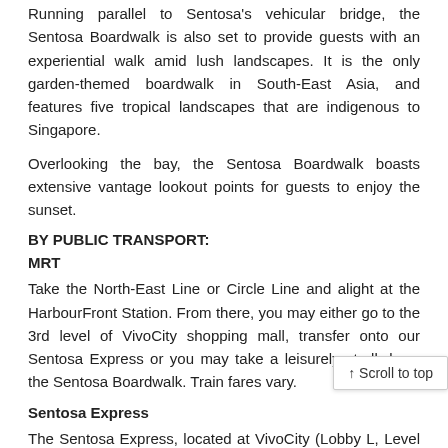Running parallel to Sentosa's vehicular bridge, the Sentosa Boardwalk is also set to provide guests with an experiential walk amid lush landscapes. It is the only garden-themed boardwalk in South-East Asia, and features five tropical landscapes that are indigenous to Singapore.
Overlooking the bay, the Sentosa Boardwalk boasts extensive vantage lookout points for guests to enjoy the sunset.
BY PUBLIC TRANSPORT:
MRT
Take the North-East Line or Circle Line and alight at the HarbourFront Station. From there, you may either go to the 3rd level of VivoCity shopping mall, transfer onto our Sentosa Express or you may take a leisurely stroll down the Sentosa Boardwalk. Train fares vary.
Sentosa Express
The Sentosa Express, located at VivoCity (Lobby L, Level 3), provides easy access to Sentosa, HarbourFront and James Power Station.
Ticketing